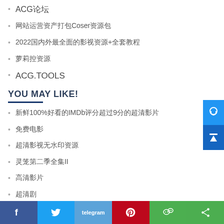ACG论坛
网站运营资产打包Coser资源包
2022国内外最全面的影视资源+全套教程
萝莉控资源
ACG.TOOLS
YOU MAY LIKE!
新鲜100%好看的IMDb评分超过9分的超清影片
免费电影
超清影视无水印资源
灵笼第二季全集II
高清影片
超清剧
在线爱情片
完整无删减版视频